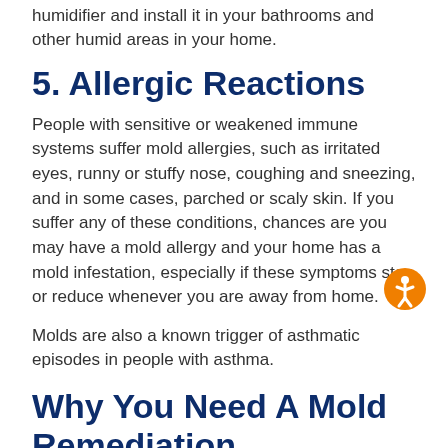humidifier and install it in your bathrooms and other humid areas in your home.
5. Allergic Reactions
People with sensitive or weakened immune systems suffer mold allergies, such as irritated eyes, runny or stuffy nose, coughing and sneezing, and in some cases, parched or scaly skin. If you suffer any of these conditions, chances are you may have a mold allergy and your home has a mold infestation, especially if these symptoms stop or reduce whenever you are away from home.
Molds are also a known trigger of asthmatic episodes in people with asthma.
Why You Need A Mold Remediation Professional